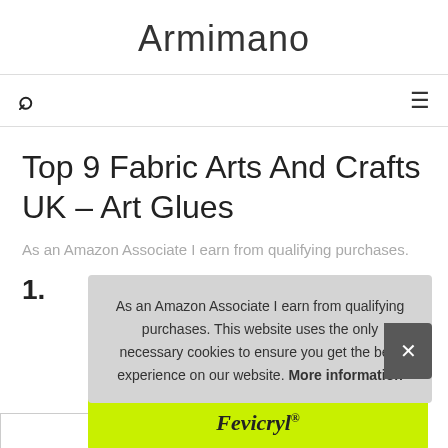Armimano
🔍   ≡
Top 9 Fabric Arts And Crafts UK – Art Glues
As an Amazon Associate I earn from qualifying purchases.
1.
As an Amazon Associate I earn from qualifying purchases. This website uses the only necessary cookies to ensure you get the best experience on our website. More information
[Figure (screenshot): Green banner with italic brand name Fevicryl with registered trademark symbol]